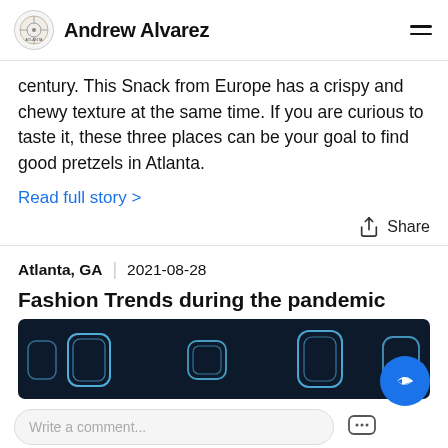Andrew Alvarez
century. This Snack from Europe has a crispy and chewy texture at the same time. If you are curious to taste it, these three places can be your goal to find good pretzels in Atlanta.
Read full story >
Atlanta, GA  2021-08-28
Fashion Trends during the pandemic
[Figure (photo): Dark themed image with glowing rounded square icons on a dark navy background]
Write a comment...